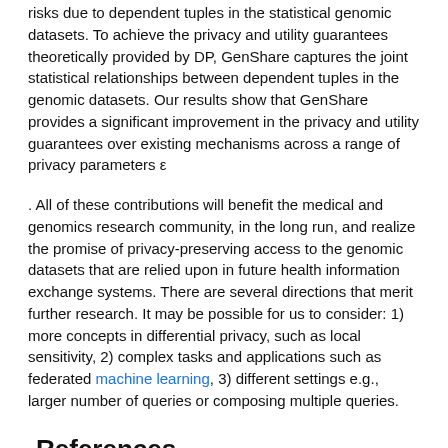risks due to dependent tuples in the statistical genomic datasets. To achieve the privacy and utility guarantees theoretically provided by DP, GenShare captures the joint statistical relationships between dependent tuples in the genomic datasets. Our results show that GenShare provides a significant improvement in the privacy and utility guarantees over existing mechanisms across a range of privacy parameters ε
. All of these contributions will benefit the medical and genomics research community, in the long run, and realize the promise of privacy-preserving access to the genomic datasets that are relied upon in future health information exchange systems. There are several directions that merit further research. It may be possible for us to consider: 1) more concepts in differential privacy, such as local sensitivity, 2) complex tasks and applications such as federated machine learning, 3) different settings e.g., larger number of queries or composing multiple queries.
References
(1)  Stephens, Z., Lee, S., Faghri, F., Campbell, R., Zhai, C., Efron, M., ...